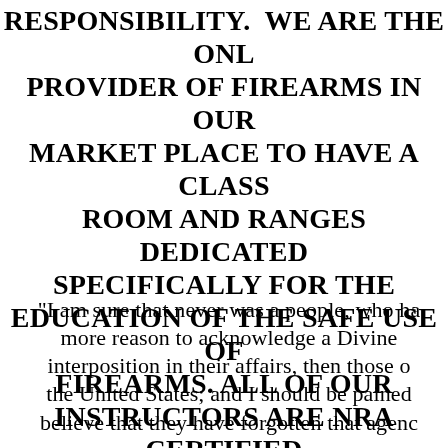RESPONSIBILITY.  WE ARE THE ONLY PROVIDER OF FIREARMS IN OUR MARKET PLACE TO HAVE A CLASS ROOM AND RANGES DEDICATED SPECIFICALLY FOR THE EDUCATION OF THE SAFE USE OF FIREARMS. ALL OF OUR INSTRUCTORS ARE NRA CERTIFIED. WE ALSO HAVE LE FIREARM INSTRUCTORS AND NRA TRAINING COUNSELOR ON STAFF.
"I am sure that never was a people, who had more reason to acknowledge a Divine interposition in their affairs, then those of the United States; and I should be pained to believe that they have forgotten that agency"